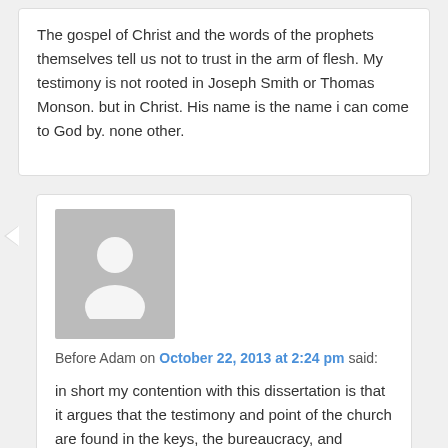The gospel of Christ and the words of the prophets themselves tell us not to trust in the arm of flesh. My testimony is not rooted in Joseph Smith or Thomas Monson. but in Christ. His name is the name i can come to God by. none other.
[Figure (illustration): Gray default avatar/silhouette placeholder image]
Before Adam on October 22, 2013 at 2:24 pm said:
in short my contention with this dissertation is that it argues that the testimony and point of the church are found in the keys, the bureaucracy, and hierarchy. Not the spirit and the Son of God.
The spirit testifies of truth. It will testify of cannon and prophets and Christ. It seeks takes away from